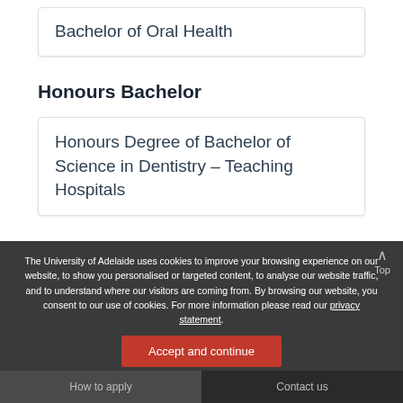Bachelor of Oral Health
Honours Bachelor
Honours Degree of Bachelor of Science in Dentistry – Teaching Hospitals
The University of Adelaide uses cookies to improve your browsing experience on our website, to show you personalised or targeted content, to analyse our website traffic, and to understand where our visitors are coming from. By browsing our website, you consent to our use of cookies. For more information please read our privacy statement.
A great part of the degree is the amount of time you
How to apply   Contact us